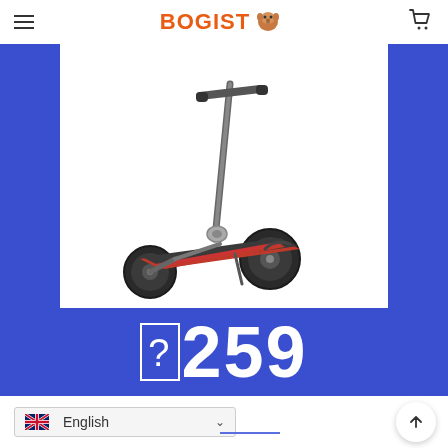BOGIST [logo]
[Figure (photo): Electric scooter (black and red) shown at an angle, folded/standing position, displayed on a white background. The scooter has two wheels, red accent lines on the deck, and a collapsible handlebar.]
?259
PER MONTH
English